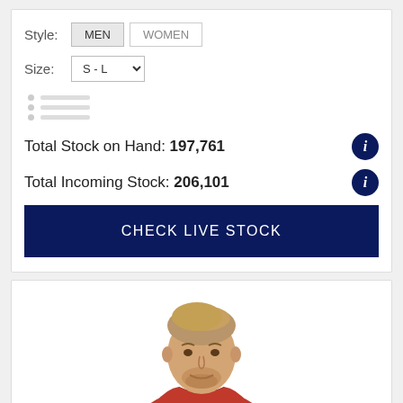Style:
MEN  WOMEN
Size:
S - L
[Figure (other): List/bullet icon with three rows of dots and lines in gray]
Total Stock on Hand: 197,761
Total Incoming Stock: 206,101
CHECK LIVE STOCK
[Figure (photo): Man wearing a red polo shirt with dark collar, facing camera, cropped at shoulders]